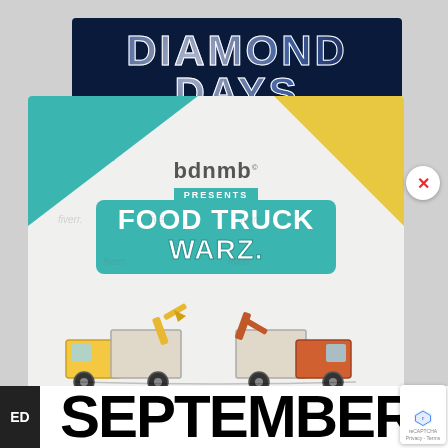[Figure (illustration): Diamond Days promotional banner with rhinestone/diamond-studded text on a dark navy blue background]
[Figure (illustration): Food Truck Warz event promotional flyer. Shows 'bdnmb presents FOOD TRUCK WARZ' with illustrated food trucks facing each other on a light grey background with teal and yellow geometric corner accents. The bottom shows the word SEPTEMBER in large bold black text. An X close button appears on the right, and a reCAPTCHA badge appears bottom right. An ED label appears bottom left.]